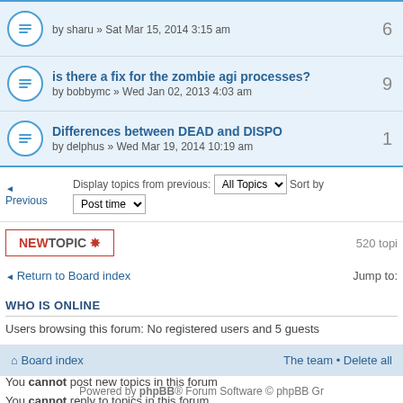| Topic | Replies |
| --- | --- |
| by sharu » Sat Mar 15, 2014 3:15 am | 6 |
| is there a fix for the zombie agi processes?
by bobbymc » Wed Jan 02, 2013 4:03 am | 9 |
| Differences between DEAD and DISPO
by delphus » Wed Mar 19, 2014 10:19 am | 1 |
◄ Previous   Display topics from previous: All Topics ▾  Sort by Post time
NEWTOPIC ✸   520 topi
◄ Return to Board index   Jump to:
WHO IS ONLINE
Users browsing this forum: No registered users and 5 guests
FORUM PERMISSIONS
You cannot post new topics in this forum
You cannot reply to topics in this forum
You cannot edit your posts in this forum
You cannot delete your posts in this forum
Board index   The team • Delete all
Powered by phpBB® Forum Software © phpBB Gr